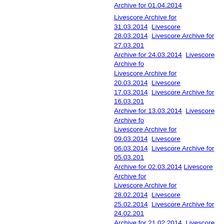Archive for 01.04.2014
Livescore Archive for 31.03.2014   Livescore Archive for 28.03.2014   Livescore Archive for 27.03.2014   Archive for 24.03.2014   Livescore Archive for ...   Livescore Archive for 20.03.2014   Livescore Archive for 17.03.2014   Livescore Archive for 16.03.2014   Archive for 13.03.2014   Livescore Archive for ...   Livescore Archive for 09.03.2014   Livescore Archive for 06.03.2014   Livescore Archive for 05.03.2014   Archive for 02.03.2014   Livescore Archive for ...   Livescore Archive for 28.02.2014   Livescore Archive for 25.02.2014   Livescore Archive for 24.02.2014   Archive for 21.02.2014   Livescore Archive for ...   Livescore Archive for 17.02.2014   Livescore Archive for 14.02.2014   Livescore Archive for 13.02.2014   Archive for 10.02.2014   Livescore Archive for ...   Livescore Archive for 06.02.2014   Livescore Archive for 03.02.2014   Livescore Archive for 02.02.2014   Livescore Archive for 31.01.2014   Livescore Archive for 28.01.2014   Livescore Archive for 27.01.2014   Archive for 24.01.2014   Livescore Archive for ...   Livescore Archive for 20.01.2014   Livescore Archive for 17.01.2014   Livescore Archive for 16.01.2014   Archive for 13.01.2014   Livescore Archive for ...   Livescore Archive for 09.01.2014   Livescore Archive for ...